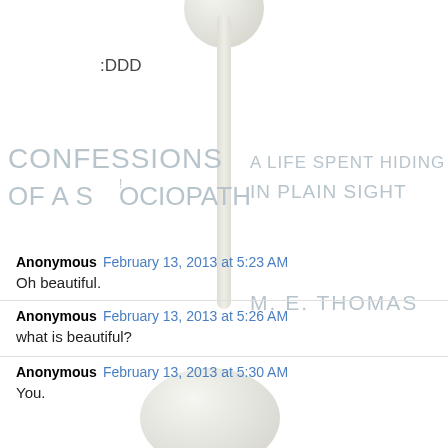[Figure (illustration): Book cover for 'Confessions of a Sociopath: A Life Spent Hiding in Plain Sight' by M.E. Thomas, with a lollipop graphic and handwritten-style text on a white background]
:DDD
CONFESSIONS OF A SOCIOPATH
A LIFE SPENT HIDING IN PLAIN SIGHT
M. E. THOMAS
Anonymous  February 13, 2013 at 5:23 AM
Oh beautiful.
Anonymous  February 13, 2013 at 5:26 AM
what is beautiful?
Anonymous  February 13, 2013 at 5:30 AM
You.